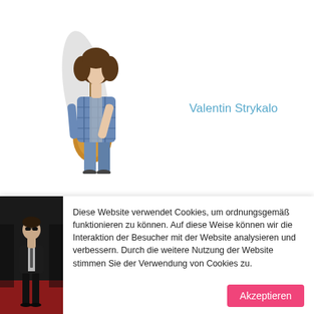[Figure (photo): Young man with curly hair holding an acoustic guitar, wearing a plaid shirt and jeans, standing against white background]
Valentin Strykalo
[Figure (photo): Man in black suit standing on a red carpet, wearing sunglasses]
Diese Website verwendet Cookies, um ordnungsgemäß funktionieren zu können. Auf diese Weise können wir die Interaktion der Besucher mit der Website analysieren und verbessern. Durch die weitere Nutzung der Website stimmen Sie der Verwendung von Cookies zu.
Akzeptieren